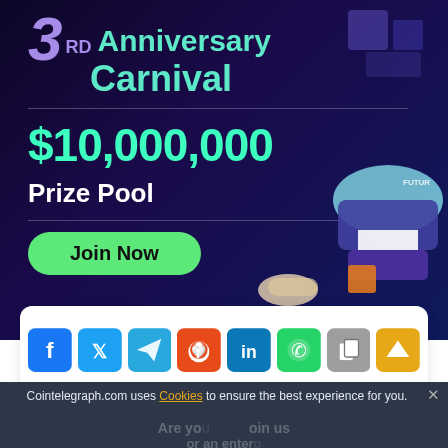[Figure (illustration): Cryptocurrency exchange 3rd Anniversary Carnival promotional banner with dark purple/blue background, showing '$10,000,000 Prize Pool' text in teal/green, a 'Join Now' button, and futuristic 3D robot/machine graphics on the right.]
[Figure (infographic): Social media share bar with icons for Facebook, Twitter, Telegram, Reddit, LinkedIn, WhatsApp, copy link, and scroll-to-top buttons.]
Cointelegraph.com uses Cookies to ensure the best experience for you.
ACCEPT